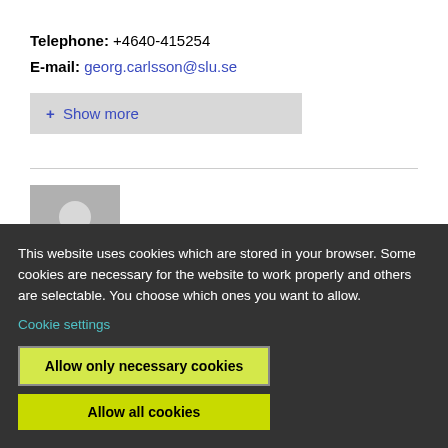Telephone: +4640-415254
E-mail: georg.carlsson@slu.se
+ Show more
[Figure (photo): Generic user avatar placeholder image with grey background and silhouette]
This website uses cookies which are stored in your browser. Some cookies are necessary for the website to work properly and others are selectable. You choose which ones you want to allow.
Cookie settings
Allow only necessary cookies
Allow all cookies